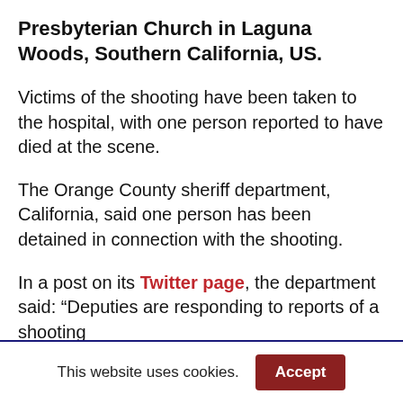Presbyterian Church in Laguna Woods, Southern California, US.
Victims of the shooting have been taken to the hospital, with one person reported to have died at the scene.
The Orange County sheriff department, California, said one person has been detained in connection with the shooting.
In a post on its Twitter page, the department said: “Deputies are responding to reports of a shooting
This website uses cookies.